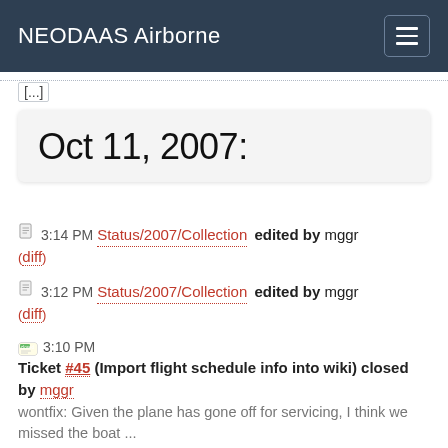NEODAAS Airborne
Oct 11, 2007:
3:14 PM Status/2007/Collection edited by mggr (diff)
3:12 PM Status/2007/Collection edited by mggr (diff)
3:10 PM Ticket #45 (Import flight schedule info into wiki) closed by mggr
wontfix: Given the plane has gone off for servicing, I think we missed the boat ...